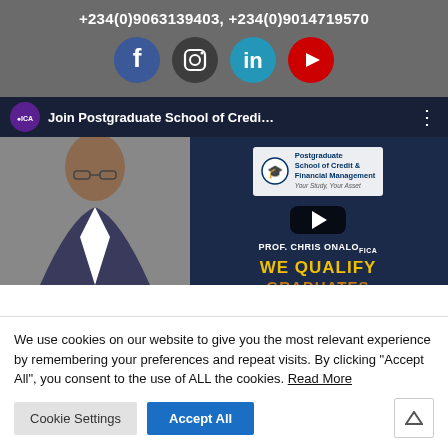+234(0)9063139403, +234(0)9014719570
[Figure (infographic): Social media icons row: Facebook (blue circle), Instagram (dark circle), LinkedIn (teal circle), YouTube (red circle)]
[Figure (screenshot): YouTube video thumbnail showing 'Join Postgraduate School of Credi...' with Prof. Chris Onalo FICA, Postgraduate School of Credit & Financial Management logo, play button, WE QUALIFY GRADUATES text]
We use cookies on our website to give you the most relevant experience by remembering your preferences and repeat visits. By clicking "Accept All", you consent to the use of ALL the cookies. Read More
Cookie Settings
Accept All